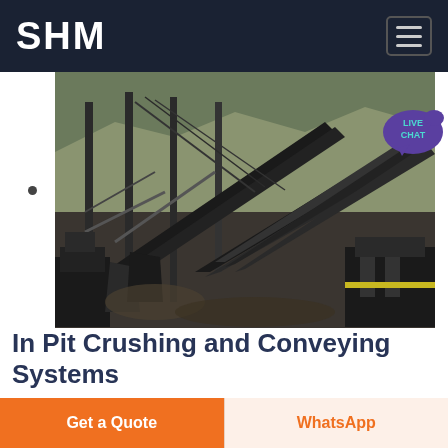SHM
[Figure (photo): Industrial in-pit crushing and conveying system with belt conveyors and crushing equipment at a mining site]
In Pit Crushing and Conveying Systems
04 07 2018  In Pit Crushers the Key to Hard Rock Conveying The essential task of the in pit crusher in a belt conveyor transport system is to reduce blasted material to a conveyable size Crushers for this purpose